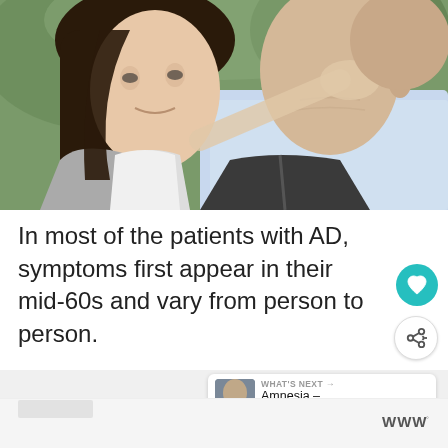[Figure (photo): Close-up photograph of a young woman with dark hair leaning against an older man wearing a light blue collared shirt, outdoors with green background blur]
In most of the patients with AD, symptoms first appear in their mid-60s and vary from person to person.
WHAT'S NEXT → Amnesia – Spiritual...